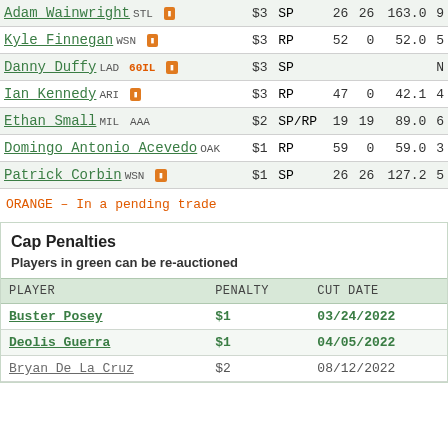| PLAYER | SALARY | POS | G | GS | IP | ... |
| --- | --- | --- | --- | --- | --- | --- |
| Adam Wainwright STL | $3 | SP | 26 | 26 | 163.0 | 9 |
| Kyle Finnegan WSN | $3 | RP | 52 | 0 | 52.0 | 5 |
| Danny Duffy LAD 60IL | $3 | SP |  |  |  | N |
| Ian Kennedy ARI | $3 | RP | 47 | 0 | 42.1 | 4 |
| Ethan Small MIL AAA | $2 | SP/RP | 19 | 19 | 89.0 | 6 |
| Domingo Antonio Acevedo OAK | $1 | RP | 59 | 0 | 59.0 | 3 |
| Patrick Corbin WSN | $1 | SP | 26 | 26 | 127.2 | 5 |
ORANGE – In a pending trade
Cap Penalties
Players in green can be re-auctioned
| PLAYER | PENALTY | CUT DATE |
| --- | --- | --- |
| Buster Posey | $1 | 03/24/2022 |
| Deolis Guerra | $1 | 04/05/2022 |
| Bryan De La Cruz | $2 | 08/12/2022 |